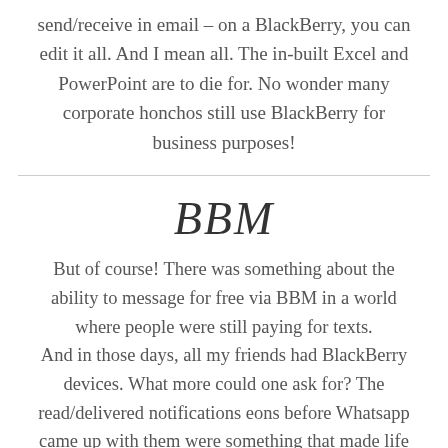send/receive in email – on a BlackBerry, you can edit it all. And I mean all. The in-built Excel and PowerPoint are to die for. No wonder many corporate honchos still use BlackBerry for business purposes!
BBM
But of course! There was something about the ability to message for free via BBM in a world where people were still paying for texts. And in those days, all my friends had BlackBerry devices. What more could one ask for? The read/delivered notifications eons before Whatsapp came up with them were something that made life so much easier. Another fun